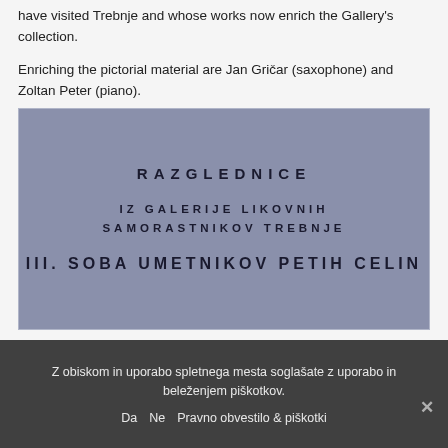have visited Trebnje and whose works now enrich the Gallery's collection.
Enriching the pictorial material are Jan Gričar (saxophone) and Zoltan Peter (piano).
[Figure (illustration): Blue-grey rectangular image with bold uppercase text reading: RAZGLEDNICE / IZ GALERIJE LIKOVNIH SAMORASTNIKOV TREBNJE / III. SOBA UMETNIKOV PETIH CELIN]
Z obiskom in uporabo spletnega mesta soglašate z uporabo in beleženjem piškotkov.
Da   Ne   Pravno obvestilo & piškotki